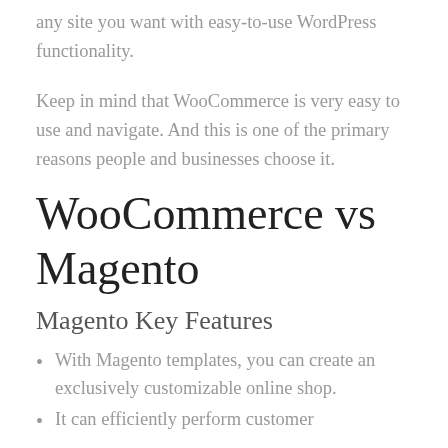any site you want with easy-to-use WordPress functionality.
Keep in mind that WooCommerce is very easy to use and navigate. And this is one of the primary reasons people and businesses choose it.
WooCommerce vs Magento
Magento Key Features
With Magento templates, you can create an exclusively customizable online shop.
It can efficiently perform customer